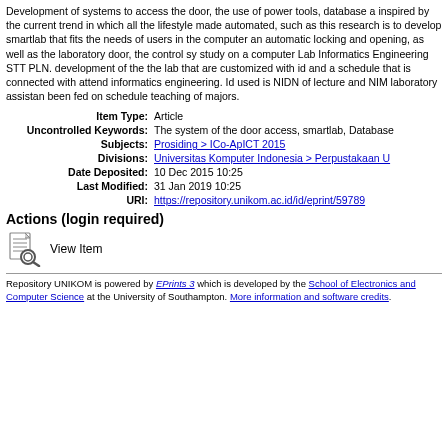Development of systems to access the door, the use of power tools, database a inspired by the current trend in which all the lifestyle made automated, such as this research is to develop smartlab that fits the needs of users in the computer an automatic locking and opening, as well as the laboratory door, the control sy study on a computer Lab Informatics Engineering STT PLN. development of the the lab that are customized with id and a schedule that is connected with attend informatics engineering. Id used is NIDN of lecture and NIM laboratory assistan been fed on schedule teaching of majors.
| Item Type: | Article |
| Uncontrolled Keywords: | The system of the door access, smartlab, Database |
| Subjects: | Prosiding > ICo-ApICT 2015 |
| Divisions: | Universitas Komputer Indonesia > Perpustakaan U |
| Date Deposited: | 10 Dec 2015 10:25 |
| Last Modified: | 31 Jan 2019 10:25 |
| URI: | https://repository.unikom.ac.id/id/eprint/59789 |
Actions (login required)
[Figure (illustration): View Item icon - magnifying glass over a document]
View Item
Repository UNIKOM is powered by EPrints 3 which is developed by the School of Electronics and Computer Science at the University of Southampton. More information and software credits.